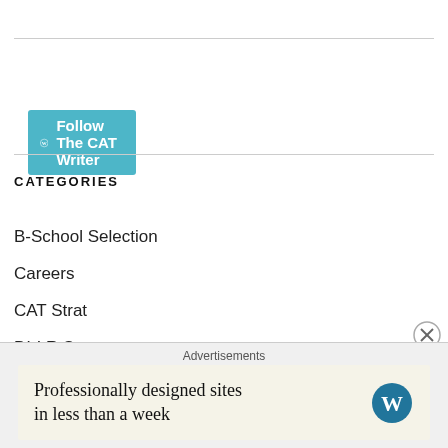[Figure (logo): Follow The CAT Writer button with WordPress logo in teal/cyan color]
CATEGORIES
B-School Selection
Careers
CAT Strat
DI-LR Strat
Motivation
Quant Strat
Uncategorized
[Figure (infographic): Advertisement banner: Professionally designed sites in less than a week, with WordPress logo]